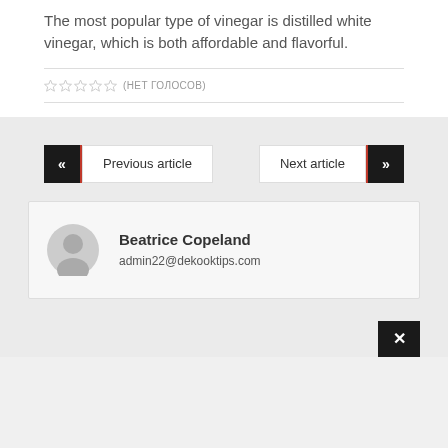The most popular type of vinegar is distilled white vinegar, which is both affordable and flavorful.
☆☆☆☆☆ (нет голосов)
« Previous article
Next article »
Beatrice Copeland
admin22@dekooktips.com